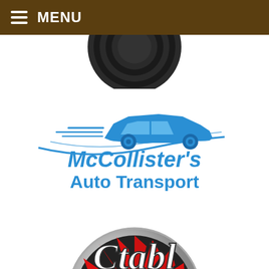≡ MENU
[Figure (logo): Partial dark circular logo at top center, cropped by menu bar]
[Figure (logo): McCollister's Auto Transport logo with blue car silhouette and swoosh above blue italic/bold text reading McCollister's Auto Transport]
[Figure (logo): Partial circular badge logo at bottom, red sunburst background with chrome ring and white script lettering partially visible, cropped at bottom]